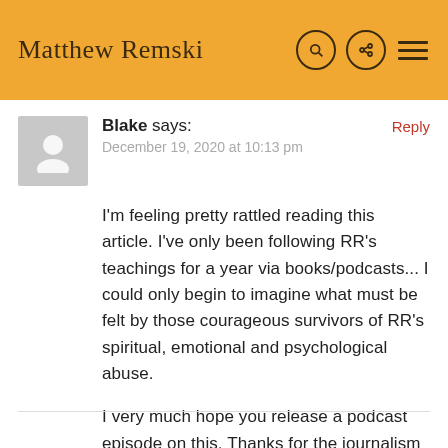Matthew Remski
Blake says:
December 19, 2020 at 10:13 pm

I'm feeling pretty rattled reading this article. I've only been following RR's teachings for a year via books/podcasts... I could only begin to imagine what must be felt by those courageous survivors of RR's spiritual, emotional and psychological abuse.

I very much hope you release a podcast episode on this. Thanks for the journalism Matthew